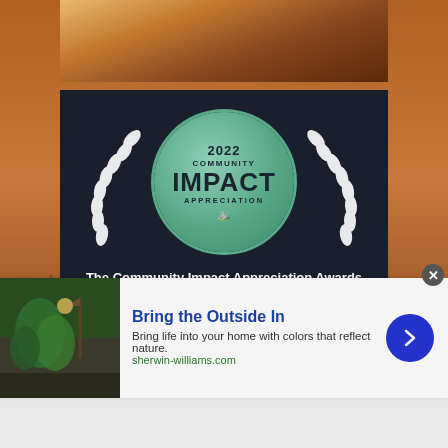[Figure (photo): Partial top photo of a person, warm toned]
[Figure (illustration): 2022 Community Impact Appreciation award badge with laurel wreath on dark navy background]
The Community Impact Appreciation Awards
Help us honor Lynchburg businesses and organizations that are making a tangible, measurable impact on their communities by nominating them today!
[Figure (photo): Indoor plant with pendant light, Sherwin-Williams advertisement image]
Bring the Outside In
Bring life into your home with colors that reflect nature.
sherwin-williams.com